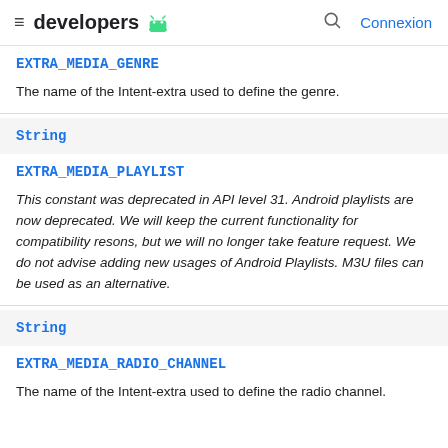developers
EXTRA_MEDIA_GENRE
The name of the Intent-extra used to define the genre.
String
EXTRA_MEDIA_PLAYLIST
This constant was deprecated in API level 31. Android playlists are now deprecated. We will keep the current functionality for compatibility resons, but we will no longer take feature request. We do not advise adding new usages of Android Playlists. M3U files can be used as an alternative.
String
EXTRA_MEDIA_RADIO_CHANNEL
The name of the Intent-extra used to define the radio channel.